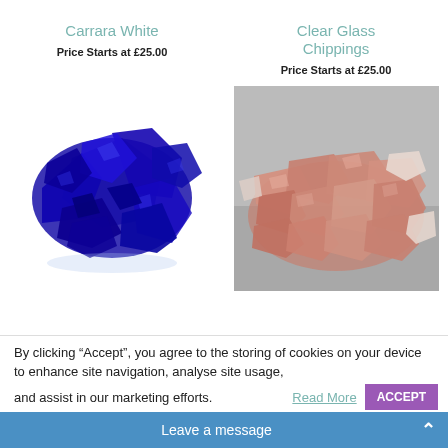Carrara White
Price Starts at £25.00
Clear Glass Chippings
Price Starts at £25.00
[Figure (photo): Blue glass chippings piled on white background]
[Figure (photo): Pink/peach stone chippings piled on grey background]
By clicking “Accept”, you agree to the storing of cookies on your device to enhance site navigation, analyse site usage, and assist in our marketing efforts. Read More  ACCEPT
Leave a message